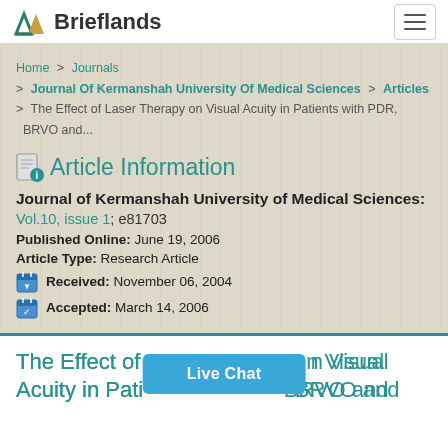Brieflands
Home > Journals > Journal Of Kermanshah University Of Medical Sciences > Articles > The Effect of Laser Therapy on Visual Acuity in Patients with PDR, BRVO and...
Article Information
Journal of Kermanshah University of Medical Sciences:
Vol.10, issue 1; e81703
Published Online: June 19, 2006
Article Type: Research Article
Received: November 06, 2004
Accepted: March 14, 2006
The Effect of Laser Therapy on Visual Acuity in Patients with PDR, BRVO and...